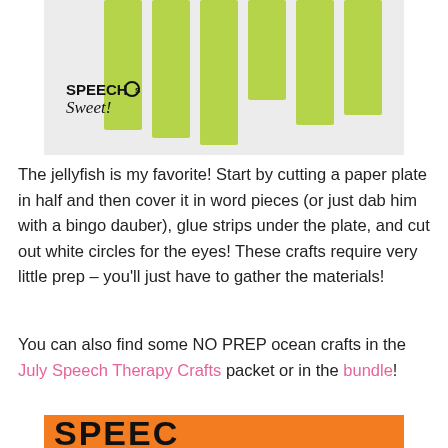[Figure (photo): Photo showing green paper strips hanging vertically against a white background, with a 'Speech is Sweet!' logo watermark in the lower left corner.]
The jellyfish is my favorite! Start by cutting a paper plate in half and then cover it in word pieces (or just dab him with a bingo dauber), glue strips under the plate, and cut out white circles for the eyes! These crafts require very little prep – you'll just have to gather the materials!
You can also find some NO PREP ocean crafts in the July Speech Therapy Crafts packet or in the bundle!
[Figure (photo): Partial view of an orange banner/sign with large black bold letters spelling 'SPEEC' (cut off at bottom of page).]